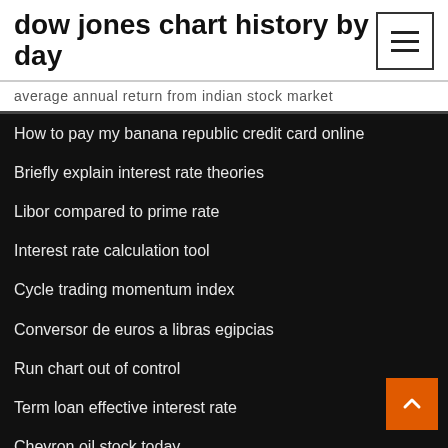dow jones chart history by day
average annual return from indian stock market
How to pay my banana republic credit card online
Briefly explain interest rate theories
Libor compared to prime rate
Interest rate calculation tool
Cycle trading momentum index
Conversor de euros a libras egipcias
Run chart out of control
Term loan effective interest rate
Chevron oil stock today
What is a flat tax rate